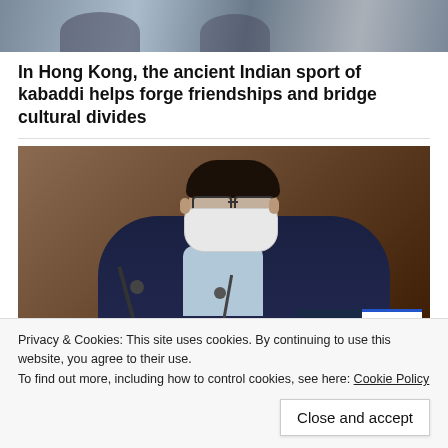[Figure (photo): Top cropped image showing kabaddi sports players on a mat, partially visible]
In Hong Kong, the ancient Indian sport of kabaddi helps forge friendships and bridge cultural divides
[Figure (photo): A man wearing glasses and a white face mask, in a navy blazer with light blue shirt, speaking at a podium with microphones. HKFP Hong Kong Free Press watermark in bottom right corner.]
Privacy & Cookies: This site uses cookies. By continuing to use this website, you agree to their use.
To find out more, including how to control cookies, see here: Cookie Policy
Close and accept